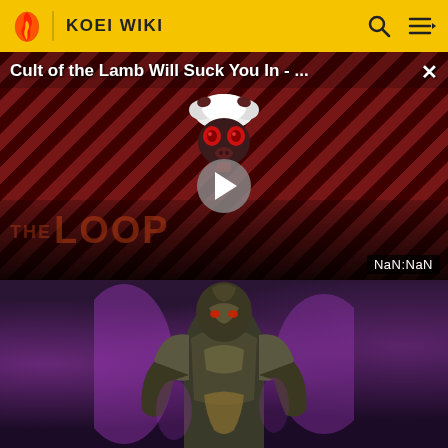KOEI WIKI
[Figure (screenshot): Video player embed showing 'Cult of the Lamb Will Suck You In - ...' with a diagonal red/dark stripe background, lamb mask logo, play button, 'THE LOOP' watermark, and NaN:NaN time display]
[Figure (illustration): Bottom portion showing a dark fantasy armored warrior character with purple/magenta energy effects in the background]